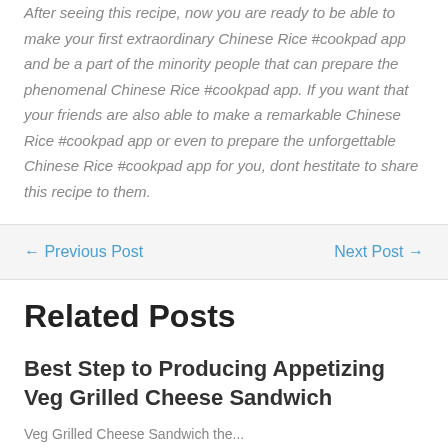After seeing this recipe, now you are ready to be able to make your first extraordinary Chinese Rice #cookpad app and be a part of the minority people that can prepare the phenomenal Chinese Rice #cookpad app. If you want that your friends are also able to make a remarkable Chinese Rice #cookpad app or even to prepare the unforgettable Chinese Rice #cookpad app for you, dont hestitate to share this recipe to them.
← Previous Post
Next Post →
Related Posts
Best Step to Producing Appetizing Veg Grilled Cheese Sandwich
Veg Grilled Cheese Sandwich the...